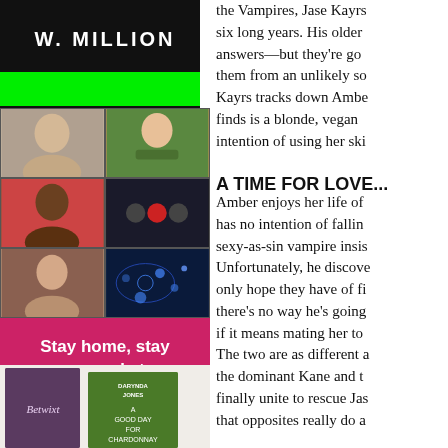[Figure (photo): Book cover with white text 'W. MILLION' on dark background with green bar at bottom]
[Figure (screenshot): Video call grid showing faces of multiple participants and a world map background, with a pink ad below saying 'Stay home, stay sane, and stay connected with our video book club!' with Zoom logo and Fresh Fiction branding]
[Figure (photo): Bottom strip showing book covers including 'Betwixt' and 'Darynda Jones A Good Day for Chardonnay']
the Vampires, Jase Kayrs six long years. His older answers—but they're go them from an unlikely so Kayrs tracks down Ambe finds is a blonde, vegan intention of using her ski
A TIME FOR LOVE...
Amber enjoys her life of has no intention of fallin sexy-as-sin vampire insis Unfortunately, he discove only hope they have of fi there's no way he's going if it means mating her to The two are as different a the dominant Kane and t finally unite to rescue Jas that opposites really do a